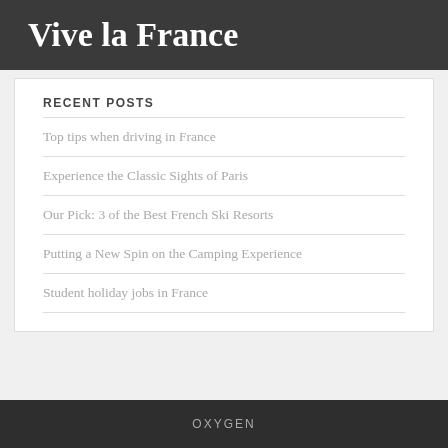Vive la France
RECENT POSTS
Top tips when driving in France
Experience the Classic Sights of Paris
Our Pick: 3 of the Best French Ski Resorts
Putting a New Spin on the Camping Experience
Student holiday jobs in France
OXYGEN